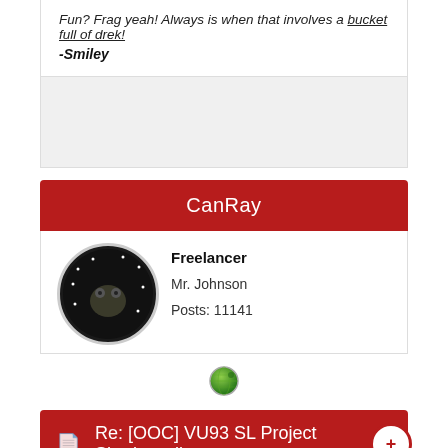Fun? Frag yeah! Always is when that involves a bucket full of drek!
-Smiley
CanRay
Freelancer
Mr. Johnson
Posts: 11141
[Figure (illustration): Globe/world icon in green]
Re: [OOC] VU93 SL Project Shadowtalk
« Reply #2 on: <01-23-12/1443:51> »
bottom partial text (cut off)